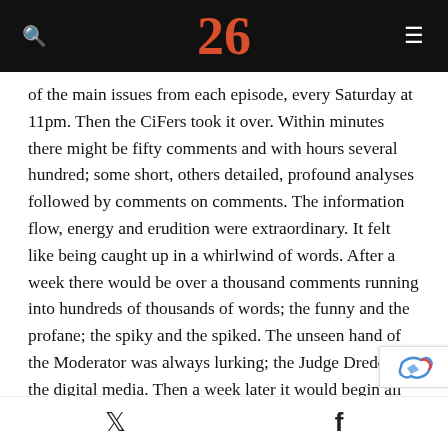26
of the main issues from each episode, every Saturday at 11pm. Then the CiFers took it over. Within minutes there might be fifty comments and with hours several hundred; some short, others detailed, profound analyses followed by comments on comments. The information flow, energy and erudition were extraordinary. It felt like being caught up in a whirlwind of words. After a week there would be over a thousand comments running into hundreds of thousands of words; the funny and the profane; the spiky and the spiked. The unseen hand of the Moderator was always lurking; the Judge Dredd of the digital media. Then a week later it would begin all over again until the TV series was spent and the commentat
Twitter  Facebook